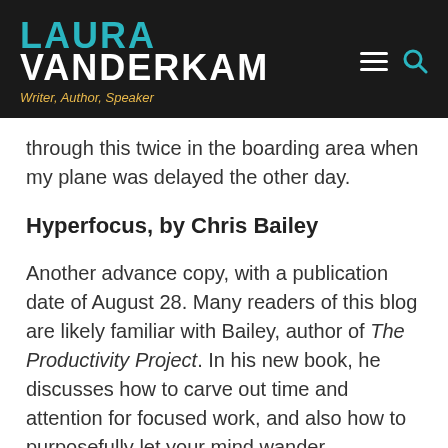LAURA VANDERKAM — Writer, Author, Speaker
through this twice in the boarding area when my plane was delayed the other day.
Hyperfocus, by Chris Bailey
Another advance copy, with a publication date of August 28. Many readers of this blog are likely familiar with Bailey, author of The Productivity Project. In his new book, he discusses how to carve out time and attention for focused work, and also how to purposefully let your mind wander (“scatterfocus”) in order to piece together concepts and create new ideas. Earnest